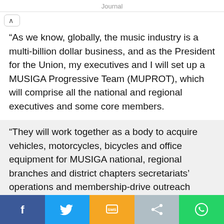Journal
“As we know, globally, the music industry is a multi-billion dollar business, and as the President for the Union, my executives and I will set up a MUSIGA Progressive Team (MUPROT), which will comprise all the national and regional executives and some core members.
“They will work together as a body to acquire vehicles, motorcycles, bicycles and office equipment for MUSIGA national, regional branches and district chapters secretariats’ operations and membership-drive outreach activities,” he noted.
Interestingly, the multi-hyphenate Mr Appiah-Levi, who eagerly seeks to be elected president of the union as well as others have placed